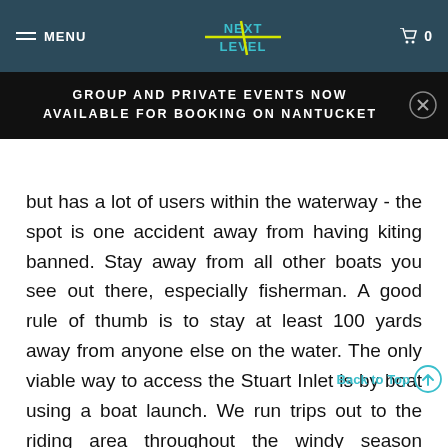MENU | NEXT LEVEL | 0
GROUP AND PRIVATE EVENTS NOW AVAILABLE FOR BOOKING ON NANTUCKET
Restrictions
but has a lot of users within the waterway - the spot is one accident away from having kiting banned. Stay away from all other boats you see out there, especially fisherman. A good rule of thumb is to stay at least 100 yards away from anyone else on the water. The only viable way to access the Stuart Inlet is by boat using a boat launch. We run trips out to the riding area throughout the windy season (December - May) and take riders to the spot for a fee. Call us or email us to